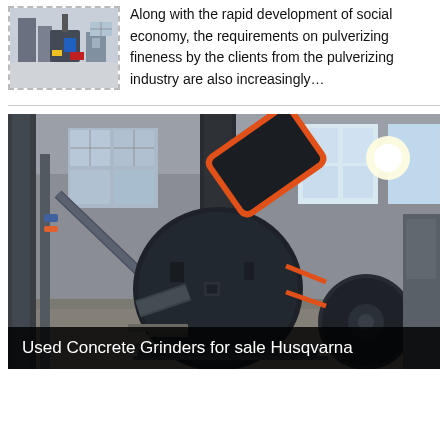[Figure (photo): Small thumbnail photo of industrial pulverizing/grinding machine equipment in a factory setting with colorful components]
Along with the rapid development of social economy, the requirements on pulverizing fineness by the clients from the pulverizing industry are also increasingly…
[Figure (photo): Large photo of an industrial grinding/pulverizing machine in a factory building. A large black circular disc/wheel machine with orange belt drive mechanism is visible, along with industrial piping, windows with natural light, and a concrete floor.]
Used Concrete Grinders for sale Husqvarna